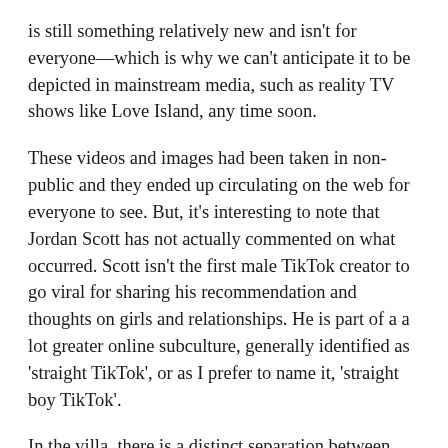is still something relatively new and isn't for everyone—which is why we can't anticipate it to be depicted in mainstream media, such as reality TV shows like Love Island, any time soon.
These videos and images had been taken in non-public and they ended up circulating on the web for everyone to see. But, it's interesting to note that Jordan Scott has not actually commented on what occurred. Scott isn't the first male TikTok creator to go viral for sharing his recommendation and thoughts on girls and relationships. He is part of a a lot greater online subculture, generally identified as 'straight TikTok', or as I prefer to name it, 'straight boy TikTok'.
In the villa, there is a distinct separation between men and women. Advice, together with his main aim being to help folks by sharing his personal experiences. However, some